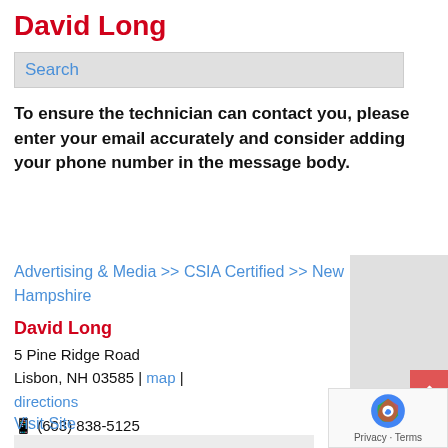David Long
Search
To ensure the technician can contact you, please enter your email accurately and consider adding your phone number in the message body.
Advertising & Media >> CSIA Certified >> New Hampshire
David Long
5 Pine Ridge Road
Lisbon, NH 03585 | map | directions
☎ (603) 838-5125
Visit Site